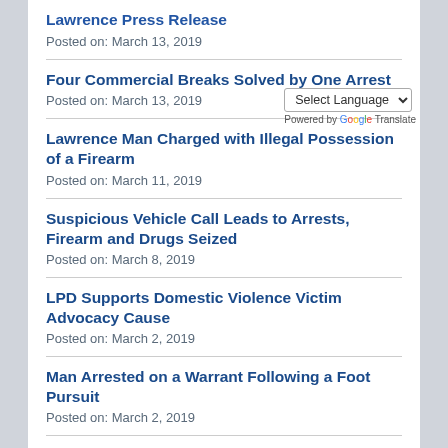Lawrence Press Release
Posted on: March 13, 2019
Four Commercial Breaks Solved by One Arrest
Posted on: March 13, 2019
Lawrence Man Charged with Illegal Possession of a Firearm
Posted on: March 11, 2019
Suspicious Vehicle Call Leads to Arrests, Firearm and Drugs Seized
Posted on: March 8, 2019
LPD Supports Domestic Violence Victim Advocacy Cause
Posted on: March 2, 2019
Man Arrested on a Warrant Following a Foot Pursuit
Posted on: March 2, 2019
LPD Supports Domestic Violence Victim Advocacy C...